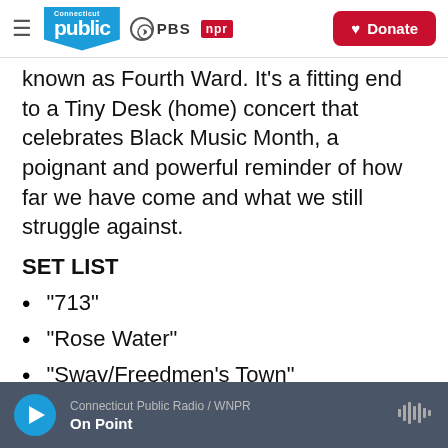Connecticut Public | PBS | NPR | Donate
known as Fourth Ward. It's a fitting end to a Tiny Desk (home) concert that celebrates Black Music Month, a poignant and powerful reminder of how far we have come and what we still struggle against.
SET LIST
"713"
"Rose Water"
"Sway/Freedmen's Town"
Connecticut Public Radio / WNPR | On Point